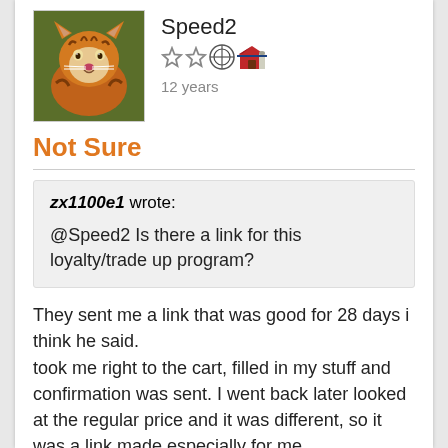[Figure (photo): Tiger avatar photo - close-up of an orange and black tiger looking at camera]
Speed2
[Figure (illustration): User badges: two stars, a circular badge, and a red barn emoji]
12 years
Not Sure
zx1100e1 wrote: @Speed2 Is there a link for this loyalty/trade up program?
They sent me a link that was good for 28 days i think he said.
took me right to the cart, filled in my stuff and confirmation was sent. I went back later looked at the regular price and it was different, so it was a link made especially for me.
--
2 DriveSmart 65's - We do not live in Igloo's and do not all ride to work on snow mobiles.
Login or register to post comments